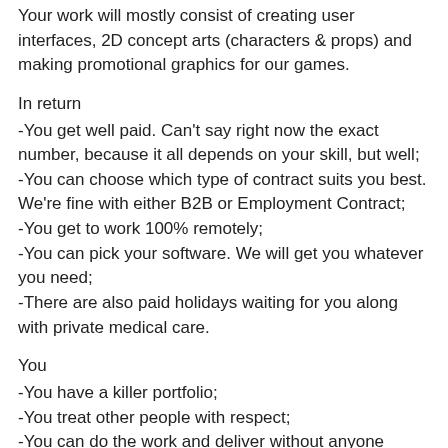Your work will mostly consist of creating user interfaces, 2D concept arts (characters & props) and making promotional graphics for our games.
In return
-You get well paid. Can't say right now the exact number, because it all depends on your skill, but well;
-You can choose which type of contract suits you best. We're fine with either B2B or Employment Contract;
-You get to work 100% remotely;
-You can pick your software. We will get you whatever you need;
-There are also paid holidays waiting for you along with private medical care.
You
-You have a killer portfolio;
-You treat other people with respect;
-You can do the work and deliver without anyone lurking over your shoulder.
That's it. Seriously.
About us